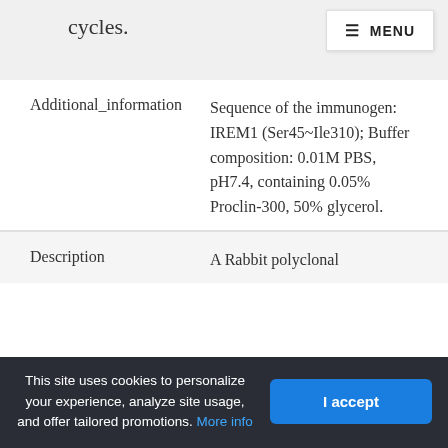cycles.
MENU
| Field | Value |
| --- | --- |
| Additional_information | Sequence of the immunogen: IREM1 (Ser45~Ile310); Buffer composition: 0.01M PBS, pH7.4, containing 0.05% Proclin-300, 50% glycerol. |
| Description | A Rabbit polyclonal |
This site uses cookies to personalize your experience, analyze site usage, and offer tailored promotions. More info
I accept